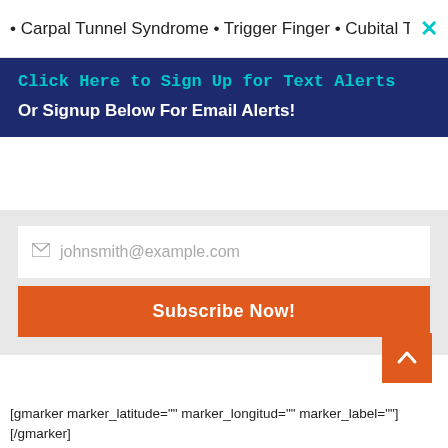• Carpal Tunnel Syndrome • Trigger Finger • Cubital Tunnel ×
Click Here to Sign Up for Text Alerts
Or Signup Below For Email Alerts!
johnsmith@example.com
Subscribe Now!
[gmarker marker_latitude="" marker_longitud="" marker_label=""]
[/gmarker]